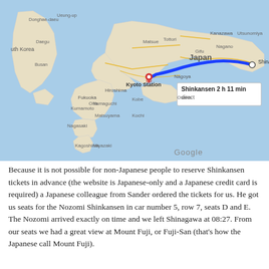[Figure (map): Google Maps screenshot showing Japan with a blue route line from Shinagawa Station (Tokyo area) to Kyoto Station along the Shinkansen route. A tooltip shows 'Shinkansen 2 h 11 min direct'. The map also shows South Korea to the left and major Japanese cities including Nagoya, Osaka, Hiroshima, Fukuoka. A red pin marks Kyoto Station.]
Because it is not possible for non-Japanese people to reserve Shinkansen tickets in advance (the website is Japanese-only and a Japanese credit card is required) a Japanese colleague from Sander ordered the tickets for us. He got us seats for the Nozomi Shinkansen in car number 5, row 7, seats D and E. The Nozomi arrived exactly on time and we left Shinagawa at 08:27. From our seats we had a great view at Mount Fuji, or Fuji-San (that's how the Japanese call Mount Fuji).